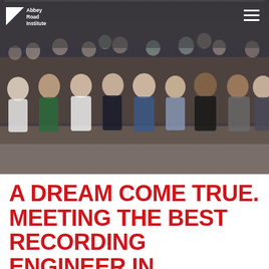Abbey Road Institute
[Figure (photo): Group photo of students and a professor/guest sitting in chairs in a row, with a large crowd standing behind them in what appears to be a studio or lecture room at Abbey Road Institute.]
A DREAM COME TRUE. MEETING THE BEST RECORDING ENGINEER IN HISTORY.